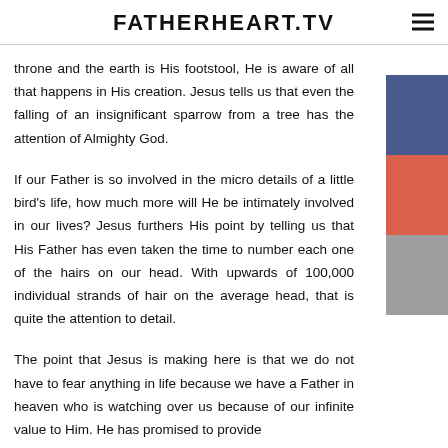FATHERHEART.TV
throne and the earth is His footstool, He is aware of all that happens in His creation. Jesus tells us that even the falling of an insignificant sparrow from a tree has the attention of Almighty God.
If our Father is so involved in the micro details of a little bird's life, how much more will He be intimately involved in our lives? Jesus furthers His point by telling us that His Father has even taken the time to number each one of the hairs on our head. With upwards of 100,000 individual strands of hair on the average head, that is quite the attention to detail.
The point that Jesus is making here is that we do not have to fear anything in life because we have a Father in heaven who is watching over us because of our infinite value to Him. He has promised to provide